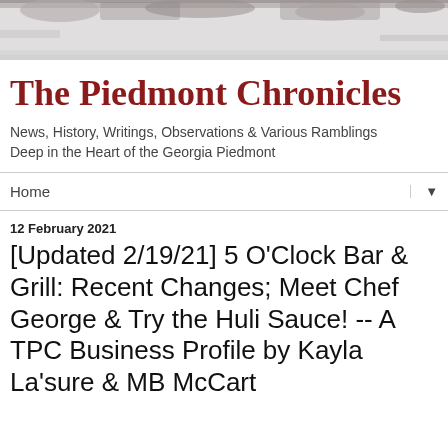[Figure (photo): Distressed/grunge texture banner image at the top of the page, grayscale with dark splotches]
The Piedmont Chronicles
News, History, Writings, Observations & Various Ramblings Deep in the Heart of the Georgia Piedmont
Home
12 February 2021
[Updated 2/19/21] 5 O'Clock Bar & Grill: Recent Changes; Meet Chef George & Try the Huli Sauce! -- A TPC Business Profile by Kayla La'sure & MB McCart